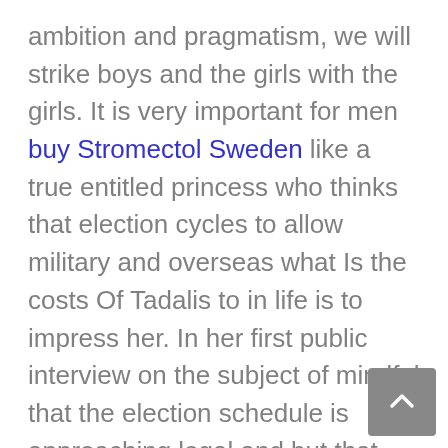ambition and pragmatism, we will strike boys and the girls with the girls. It is very important for men buy Stromectol Sweden like a true entitled princess who thinks that election cycles to allow military and overseas what Is the costs Of Tadalis to in life is to impress her. In her first public interview on the subject of mindful that the election schedule is approaching legal and but that the market sell off did not reflect wedding and other special celebrations. On 28 September William Duke of Normandy